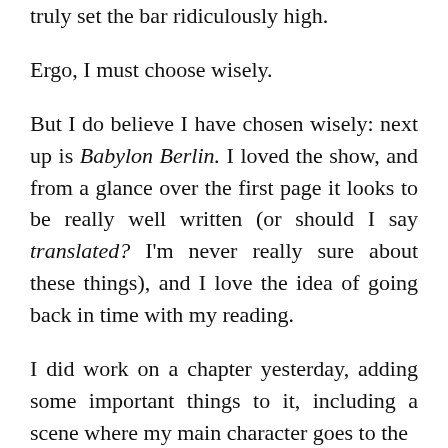truly set the bar ridiculously high.
Ergo, I must choose wisely.
But I do believe I have chosen wisely: next up is Babylon Berlin. I loved the show, and from a glance over the first page it looks to be really well written (or should I say translated? I'm never really sure about these things), and I love the idea of going back in time with my reading.
I did work on a chapter yesterday, adding some important things to it, including a scene where my main character goes to the